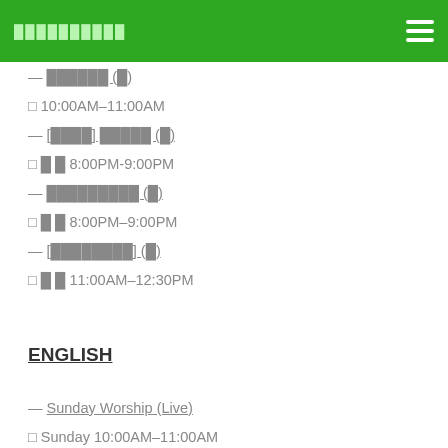██████████
— ██████ (█)
□ 10:00AM–11:00AM
— [████] █████ (█)
□ █ █ 8:00PM-9:00PM
— █████████ (█)
□ █ █ 8:00PM–9:00PM
— [████████] (█)
□ █ █ 11:00AM–12:30PM
ENGLISH
— Sunday Worship (Live)
□ Sunday 10:00AM–11:00AM
— Rabbi's Cafe (Live)
□ Tuesday 8:00PM-9:00PM